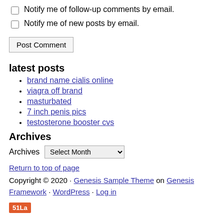Notify me of follow-up comments by email.
Notify me of new posts by email.
Post Comment
latest posts
brand name cialis online
viagra off brand
masturbated
7 inch penis pics
testosterone booster cvs
Archives
Archives [Select Month dropdown]
Return to top of page
Copyright © 2020 · Genesis Sample Theme on Genesis Framework · WordPress · Log in
51La